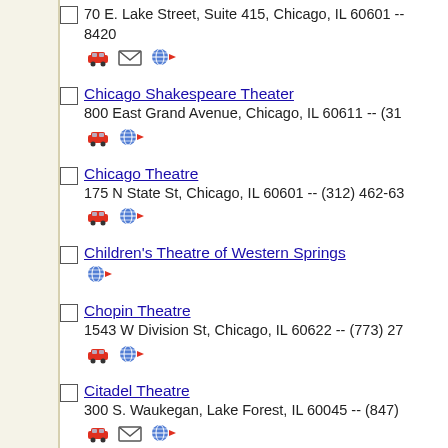70 E. Lake Street, Suite 415, Chicago, IL 60601 -- 8420
Chicago Shakespeare Theater
800 East Grand Avenue, Chicago, IL 60611 -- (31...
Chicago Theatre
175 N State St, Chicago, IL 60601 -- (312) 462-63...
Children's Theatre of Western Springs
Chopin Theatre
1543 W Division St, Chicago, IL 60622 -- (773) 27...
Citadel Theatre
300 S. Waukegan, Lake Forest, IL 60045 -- (847)...
Civic Opera House
20 N Wacker Drive, Chicago, IL 60606 -- (312) 41...